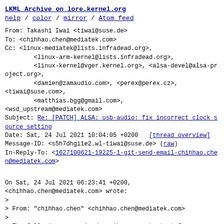LKML Archive on lore.kernel.org
help / color / mirror / Atom feed
From: Takashi Iwai <tiwai@suse.de>
To: <chihhao.chen@mediatek.com>
Cc: <linux-mediatek@lists.infradead.org>,
        <linux-arm-kernel@lists.infradead.org>,
        <linux-kernel@vger.kernel.org>, <alsa-devel@alsa-project.org>,
        <damien@zamaudio.com>, <perex@perex.cz>,
<tiwai@suse.com>,
        <matthias.bgg@gmail.com>,
<wsd_upstream@mediatek.com>
Subject: Re: [PATCH] ALSA: usb-audio: fix incorrect clock source setting
Date: Sat, 24 Jul 2021 10:04:05 +0200   [thread overview]
Message-ID: <s5h7dhgi1e2.wl-tiwai@suse.de> (raw)
In-Reply-To: <1627100621-19225-1-git-send-email-chihhao.chen@mediatek.com>
On Sat, 24 Jul 2021 06:23:41 +0200,
<chihhao.chen@mediatek.com> wrote:
>
> From: "chihhao.chen" <chihhao.chen@mediatek.com>
>
> The following scenario describes an echo test for
> Samsung USBC Headset (AKG) with VID/PID
(0x04e8/0xa051).
>